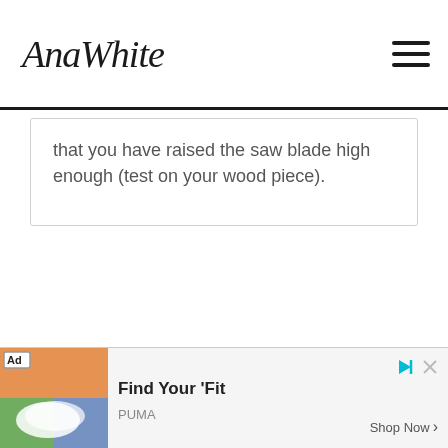AnaWhite
that you have raised the saw blade high enough (test on your wood piece).
[Figure (infographic): Advertisement banner: colorful shoe image on left with 'Ad' badge, text 'Find Your Fit' with brand PUMA and 'Shop Now' button on right]